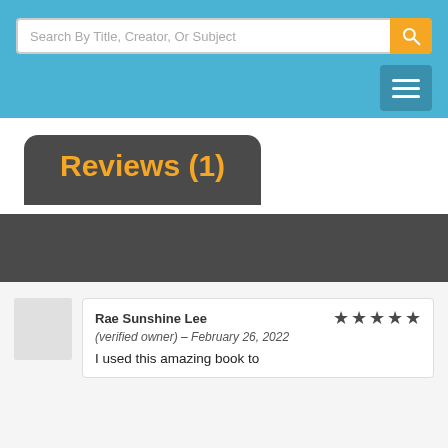Search By Title, Creator, Or Subject
Reviews (1)
Rae Sunshine Lee (verified owner) – February 26, 2022
I used this amazing book to